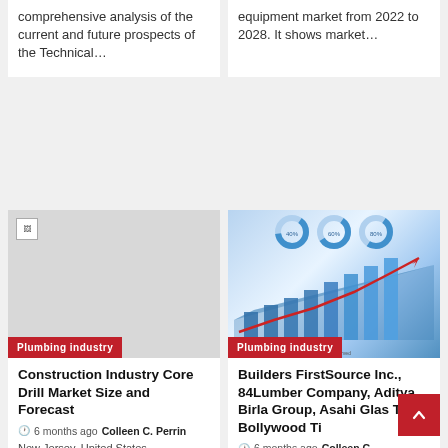comprehensive analysis of the current and future prospects of the Technical…
equipment market from 2022 to 2028. It shows market…
[Figure (photo): Broken/missing image placeholder for left card]
Plumbing industry
Construction Industry Core Drill Market Size and Forecast
6 months ago  Colleen C. Perrin
New Jersey, United States,-
[Figure (infographic): Market research report graphic with donut charts, bar chart, area chart, and red arrow trend line on blue background]
Plumbing industry
Builders FirstSource Inc., 84Lumber Company, Aditya Birla Group, Asahi Glas The Bollywood Ti
6 months ago  Colleen C.